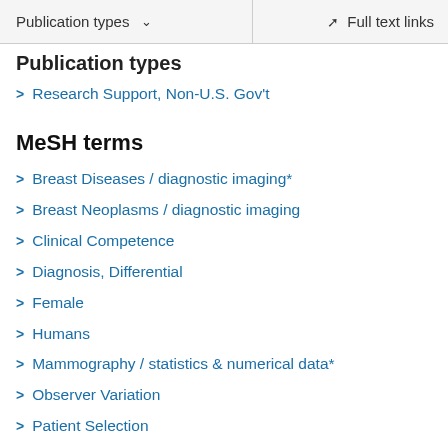Publication types   ∨    Full text links
Publication types
Research Support, Non-U.S. Gov't
MeSH terms
Breast Diseases / diagnostic imaging*
Breast Neoplasms / diagnostic imaging
Clinical Competence
Diagnosis, Differential
Female
Humans
Mammography / statistics & numerical data*
Observer Variation
Patient Selection
Radiology / standards
Radiology / statistics & numerical data*
Sensitivity and Specificity